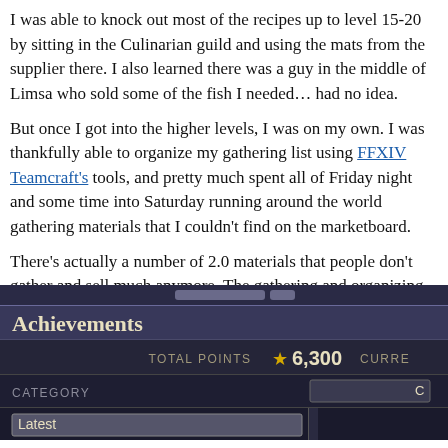I was able to knock out most of the recipes up to level 15-20 by sitting in the Culinarian guild and using the mats from the supplier there. I also learned there was a guy in the middle of Limsa who sold some of the fish I needed… had no idea.
But once I got into the higher levels, I was on my own. I was thankfully able to organize my gathering list using FFXIV Teamcraft's tools, and pretty much spent all of Friday night and some time into Saturday running around the world gathering materials that I couldn't find on the marketboard.
There's actually a number of 2.0 materials that people don't gather and sell much anymore. The gathering and organizing really took the most time to do. I was running around with a near maxed out inventory at that point.
But I got it done!
[Figure (screenshot): Screenshot of a Final Fantasy XIV game UI showing an Achievements panel. Displays 'Total Points ★ 6,300' and a category section with 'Latest' option visible. Dark themed UI with gold and gray text.]